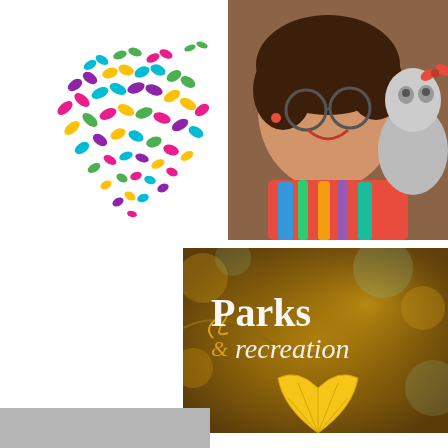[Figure (illustration): Colorful butterfly heart logo made of many small butterflies in pink, teal, yellow, purple, and green arranged in a heart shape]
[Figure (photo): Portrait photo of a smiling woman with glasses wearing a colorful scarf, holding a small fluffy gray dog with a red bow]
[Figure (illustration): Parks & recreation logo/graphic with autumn leaves background and golden ginkgo leaf, text reads 'Parks & recreation' in serif and script fonts]